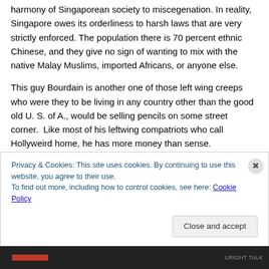harmony of Singaporean society to miscegenation. In reality, Singapore owes its orderliness to harsh laws that are very strictly enforced. The population there is 70 percent ethnic Chinese, and they give no sign of wanting to mix with the native Malay Muslims, imported Africans, or anyone else.
This guy Bourdain is another one of those left wing creeps who were they to be living in any country other than the good old U. S. of A., would be selling pencils on some street corner. Like most of his leftwing compatriots who call Hollyweird home, he has more money than sense.
Privacy & Cookies: This site uses cookies. By continuing to use this website, you agree to their use.
To find out more, including how to control cookies, see here: Cookie Policy